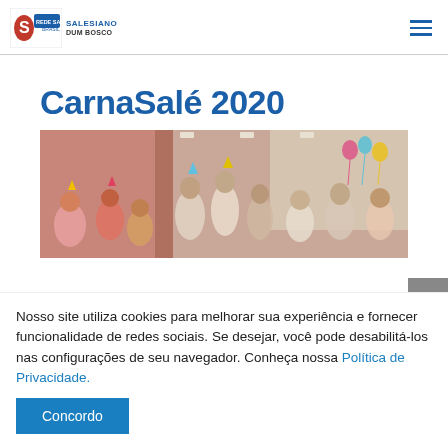[Figure (logo): Rede Salesiana Brasil logo with red shield and blue banner, text SALESIANO DUM BOSCO]
CarnaSalé 2020
[Figure (photo): Children at a carnival celebration indoors, colorful costumes and decorations]
Nosso site utiliza cookies para melhorar sua experiência e fornecer funcionalidade de redes sociais. Se desejar, você pode desabilitá-los nas configurações de seu navegador. Conheça nossa Política de Privacidade.
Concordo